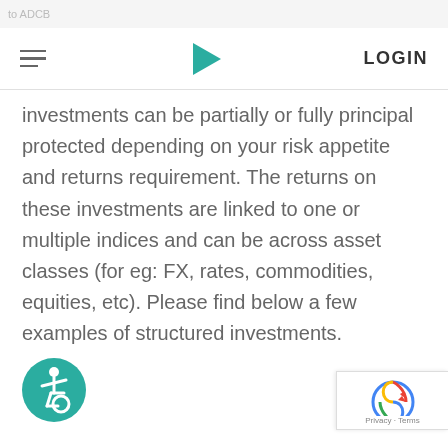to ADCB
[Figure (logo): ADCB navigation bar with hamburger menu icon, teal play-button triangle logo in center, and LOGIN text on right]
investments can be partially or fully principal protected depending on your risk appetite and returns requirement. The returns on these investments are linked to one or multiple indices and can be across asset classes (for eg: FX, rates, commodities, equities, etc). Please find below a few examples of structured investments.
[Figure (illustration): Teal circular accessibility icon button with wheelchair symbol]
[Figure (other): Google reCAPTCHA badge with Privacy and Terms links]